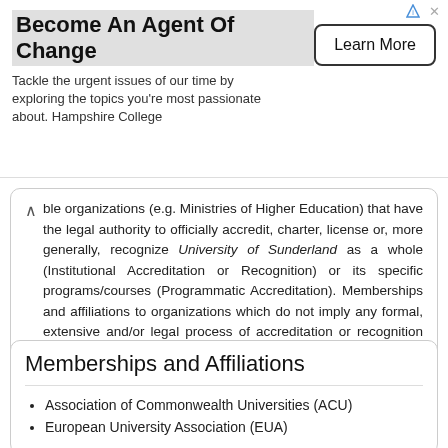[Figure (other): Advertisement banner: 'Become An Agent Of Change' - Hampshire College ad with 'Learn More' button]
ble organizations (e.g. Ministries of Higher Education) that have the legal authority to officially accredit, charter, license or, more generally, recognize University of Sunderland as a whole (Institutional Accreditation or Recognition) or its specific programs/courses (Programmatic Accreditation). Memberships and affiliations to organizations which do not imply any formal, extensive and/or legal process of accreditation or recognition are included in the specific Memberships and Affiliations section below. Please report errors and additions taking into consideration the above criteria.
Memberships and Affiliations
Association of Commonwealth Universities (ACU)
European University Association (EUA)